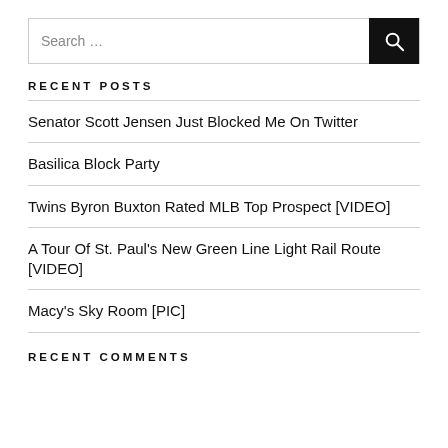Search …
RECENT POSTS
Senator Scott Jensen Just Blocked Me On Twitter
Basilica Block Party
Twins Byron Buxton Rated MLB Top Prospect [VIDEO]
A Tour Of St. Paul's New Green Line Light Rail Route [VIDEO]
Macy's Sky Room [PIC]
RECENT COMMENTS